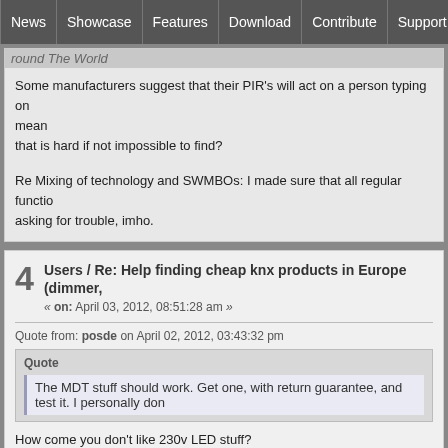News | Showcase | Features | Download | Contribute | Support
round The World
Some manufacturers suggest that their PIR's will act on a person typing on mean
that is hard if not impossible to find?
Re Mixing of technology and SWMBOs: I made sure that all regular functio asking for trouble, imho.
4 Users / Re: Help finding cheap knx products in Europe (dimmer,
« on: April 03, 2012, 08:51:28 am »
Quote from: posde on April 02, 2012, 03:43:32 pm
Quote
The MDT stuff should work. Get one, with return guarantee, and test it. I personally don
How come you don't like 230v LED stuff?

Same here. I have MDT and like them. You can control several blinds with one output, but control every blind individually, but group them with LinuxMCE. However, I would not try to as the blind actuator is not exact enough.
Quote